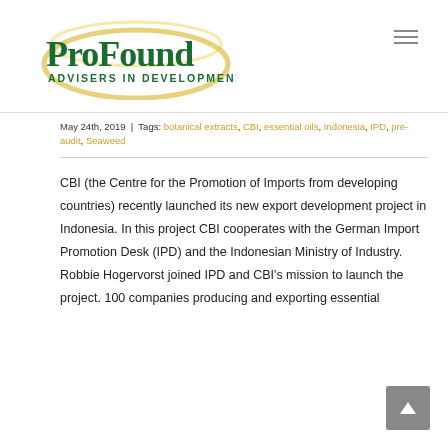[Figure (logo): ProFound Advisers In Development logo with green text and gold/yellow circular swoosh]
May 24th, 2019  |  Tags: botanical extracts, CBI, essential oils, Indonesia, IPD, pre-audit, Seaweed
CBI (the Centre for the Promotion of Imports from developing countries) recently launched its new export development project in Indonesia. In this project CBI cooperates with the German Import Promotion Desk (IPD) and the Indonesian Ministry of Industry. Robbie Hogervorst joined IPD and CBI's mission to launch the project. 100 companies producing and exporting essential